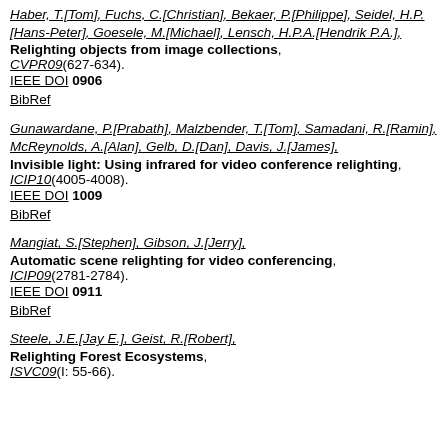Haber, T.[Tom], Fuchs, C.[Christian], Bekaer, P.[Philippe], Seidel, H.P.[Hans-Peter], Goesele, M.[Michael], Lensch, H.P.A.[Hendrik P.A.], Relighting objects from image collections, CVPR09(627-634). IEEE DOI 0906 BibRef
Gunawardane, P.[Prabath], Malzbender, T.[Tom], Samadani, R.[Ramin], McReynolds, A.[Alan], Gelb, D.[Dan], Davis, J.[James], Invisible light: Using infrared for video conference relighting, ICIP10(4005-4008). IEEE DOI 1009 BibRef
Mangiat, S.[Stephen], Gibson, J.[Jerry], Automatic scene relighting for video conferencing, ICIP09(2781-2784). IEEE DOI 0911 BibRef
Steele, J.E.[Jay E.], Geist, R.[Robert], Relighting Forest Ecosystems, ISVC09(I: 55-66).